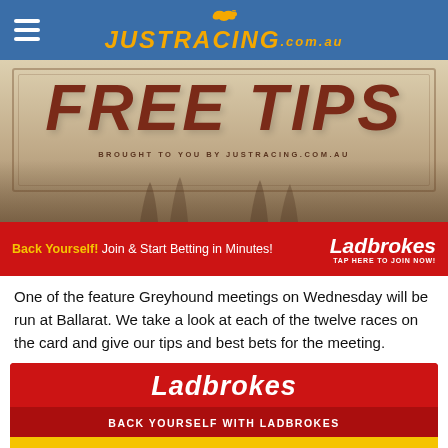JUSTRACING.com.au
[Figure (photo): FREE TIPS promotional banner image with horse legs silhouette, text reading FREE TIPS, subtext BROUGHT TO YOU BY JUSTRACING.COM.AU]
[Figure (infographic): Ladbrokes advertisement banner: Back Yourself! Join & Start Betting in Minutes! Ladbrokes TAP HERE TO JOIN NOW!]
One of the feature Greyhound meetings on Wednesday will be run at Ballarat. We take a look at each of the twelve races on the card and give our tips and best bets for the meeting.
[Figure (infographic): Ladbrokes CTA block with logo, BACK YOURSELF WITH LADBROKES text, and BET NOW yellow button]